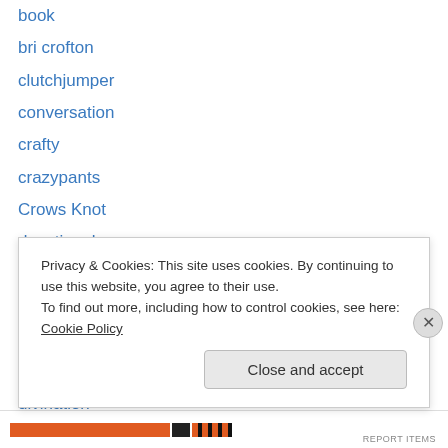book
bri crofton
clutchjumper
conversation
crafty
crazypants
Crows Knot
devotional
devotional items
Die beiden
Dionysus
disconnect
divination
dreamspace
Privacy & Cookies: This site uses cookies. By continuing to use this website, you agree to their use.
To find out more, including how to control cookies, see here: Cookie Policy
Close and accept